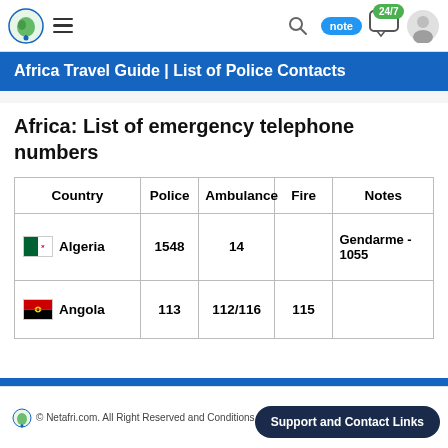Africa Travel Guide | List of Police Contacts
Africa: List of emergency telephone numbers
| Country | Police | Ambulance | Fire | Notes |
| --- | --- | --- | --- | --- |
| Algeria | 1548 | 14 |  | Gendarme - 1055 |
| Angola | 113 | 112/116 | 115 |  |
© Netafri.com. All Right Reserved and Conditions | Refund Policy   Support and Contact Links